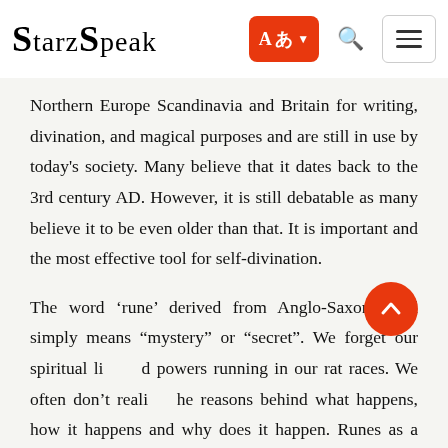StarzSpeak
Northern Europe Scandinavia and Britain for writing, divination, and magical purposes and are still in use by today's society. Many believe that it dates back to the 3rd century AD. However, it is still debatable as many believe it to be even older than that. It is important and the most effective tool for self-divination.
The word ‘rune’ derived from Anglo-Saxon word simply means “mystery” or “secret”. We forget our spiritual life and powers running in our rat races. We often don’t realize the reasons behind what happens, how it happens and why does it happen. Runes as a form of oracle reading system help us discover our spiritual side and gain insight into situations or